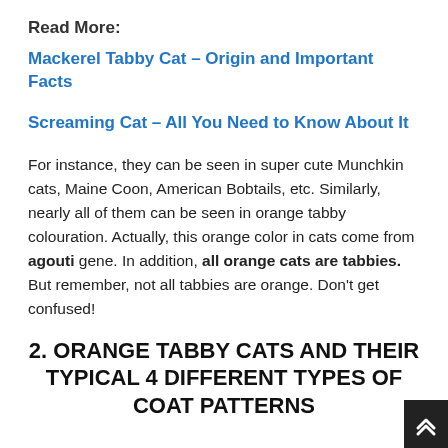Read More:
Mackerel Tabby Cat – Origin and Important Facts
Screaming Cat – All You Need to Know About It
For instance, they can be seen in super cute Munchkin cats, Maine Coon, American Bobtails, etc. Similarly, nearly all of them can be seen in orange tabby colouration. Actually, this orange color in cats come from agouti gene. In addition, all orange cats are tabbies. But remember, not all tabbies are orange. Don't get confused!
2. ORANGE TABBY CATS AND THEIR TYPICAL 4 DIFFERENT TYPES OF COAT PATTERNS